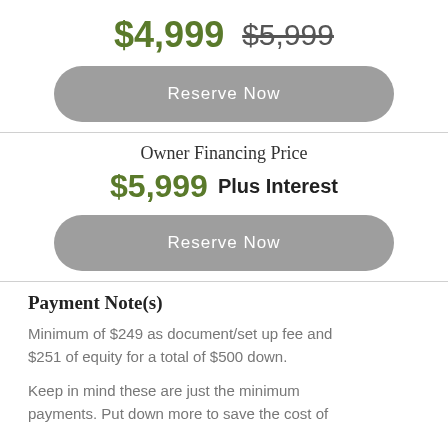$4,999  $5,999
Reserve Now
Owner Financing Price
$5,999  Plus Interest
Reserve Now
Payment Note(s)
Minimum of $249 as document/set up fee and $251 of equity for a total of $500 down.
Keep in mind these are just the minimum payments. Put down more to save the cost of